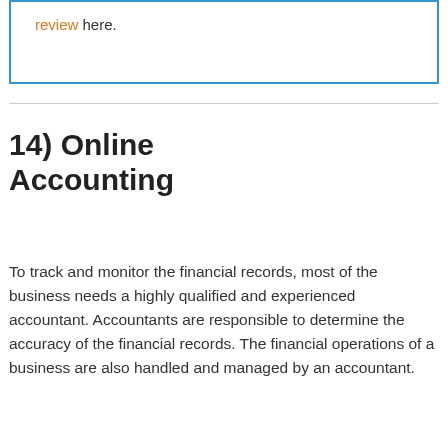review here.
14) Online Accounting
To track and monitor the financial records, most of the business needs a highly qualified and experienced accountant. Accountants are responsible to determine the accuracy of the financial records. The financial operations of a business are also handled and managed by an accountant.